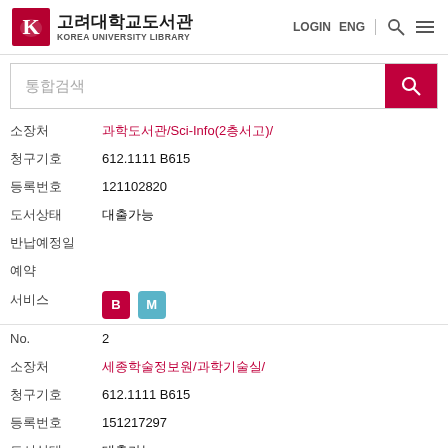고려대학교도서관 KOREA UNIVERSITY LIBRARY | LOGIN ENG
통합검색
| 필드 | 값 |
| --- | --- |
| 소장처 | 과학도서관/Sci-Info(2층서고)/ |
| 청구기호 | 612.1111 B615 |
| 등록번호 | 121102820 |
| 도서상태 | 대출가능 |
| 반납예정일 |  |
| 예약 |  |
| 서비스 | B M |
| 필드 | 값 |
| --- | --- |
| No. | 2 |
| 소장처 | 세종학술정보원/과학기술실/ |
| 청구기호 | 612.1111 B615 |
| 등록번호 | 151217297 |
| 도서상태 | 대출가능 |
| 반납예정일 |  |
| 예약 |  |
| 서비스 | M |